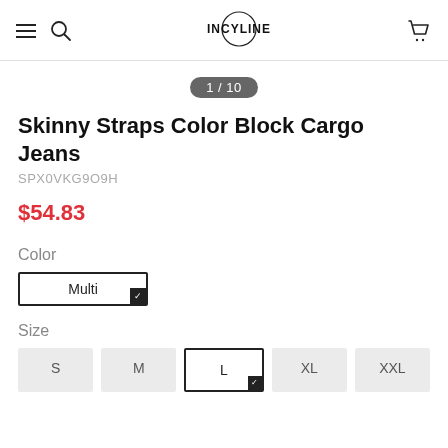INCYLINE [logo with menu and cart icons]
1 / 10
Skinny Straps Color Block Cargo Jeans
SPX0VKG9O9H
$54.83
Color
Multi
Size
S  M  L  XL  XXL